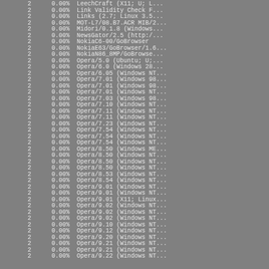| count | percent | user_agent |
| --- | --- | --- |
| 2 | 0.00% | LeechCraft (X11; U; L... |
| 2 | 0.00% | Link Validity Check F... |
| 2 | 0.00% | Links (2.7; Linux 3.5... |
| 2 | 0.00% | MOT-L7/08.B7.ACR MIB/2... |
| 2 | 0.00% | Midori/0.1.8 (Windows... |
| 2 | 0.00% | NewsGator/2.5 (http:/... |
| 2 | 0.00% | NokiaC6-00/GoBrowser |
| 2 | 0.00% | NokiaE63/GoBrowser/1.6... |
| 2 | 0.00% | NokiaN86_8MP/GoBrowse... |
| 2 | 0.00% | Opera/5.0 (Ubuntu; U;... |
| 2 | 0.00% | Opera/6.0 (Windows 28... |
| 2 | 0.00% | Opera/6.05 (Windows NT... |
| 2 | 0.00% | Opera/7.01 (Windows 98... |
| 2 | 0.00% | Opera/7.01 (Windows 98... |
| 2 | 0.00% | Opera/7.01 (Windows NT... |
| 2 | 0.00% | Opera/7.03 (Windows 98... |
| 2 | 0.00% | Opera/7.10 (Windows NT... |
| 2 | 0.00% | Opera/7.11 (Windows NT... |
| 2 | 0.00% | Opera/7.11 (Windows NT... |
| 2 | 0.00% | Opera/7.23 (Windows NT... |
| 2 | 0.00% | Opera/7.54 (Windows NT... |
| 2 | 0.00% | Opera/7.54 (Windows NT... |
| 2 | 0.00% | Opera/7.54 (Windows NT... |
| 2 | 0.00% | Opera/8.50 (Windows ME... |
| 2 | 0.00% | Opera/8.50 (Windows NT... |
| 2 | 0.00% | Opera/8.50 (Windows NT... |
| 2 | 0.00% | Opera/8.50 (Windows NT... |
| 2 | 0.00% | Opera/8.53 (Windows NT... |
| 2 | 0.00% | Opera/8.54 (Windows NT... |
| 2 | 0.00% | Opera/9.01 (Windows NT... |
| 2 | 0.00% | Opera/9.01 (Windows NT... |
| 2 | 0.00% | Opera/9.01 (X11; Linux... |
| 2 | 0.00% | Opera/9.02 (Windows NT... |
| 2 | 0.00% | Opera/9.02 (Windows NT... |
| 2 | 0.00% | Opera/9.02 (Windows NT... |
| 2 | 0.00% | Opera/9.10 (Windows NT... |
| 2 | 0.00% | Opera/9.12 (Windows NT... |
| 2 | 0.00% | Opera/9.20 (Windows NT... |
| 2 | 0.00% | Opera/9.21 (Windows NT... |
| 2 | 0.00% | Opera/9.21 (Windows NT... |
| 2 | 0.00% | Opera/9.22 (Windows NT... |